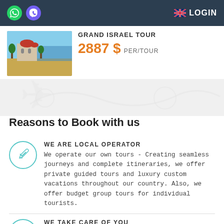LOGIN
GRAND ISRAEL TOUR
2887 $ PER/TOUR
Reasons to Book with us
WE ARE LOCAL OPERATOR
We operate our own tours - Creating seamless journeys and complete itineraries, we offer private guided tours and luxury custom vacations throughout our country. Also, we offer budget group tours for individual tourists.
WE TAKE CARE OF YOU
Our expert guides and brilliant travel concierges are hand-picked to provide a genuine experience, bringing your destination to life with care and passion. Enjoy 24/7 support from our local team while you are in Israel.